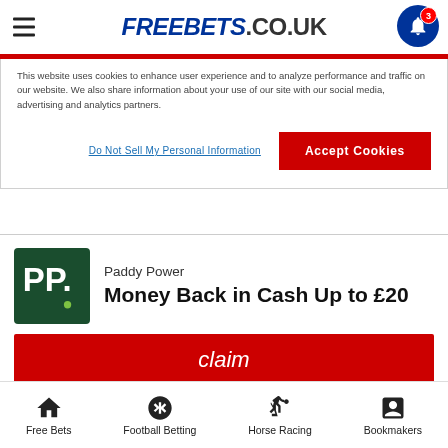FREEBETS.CO.UK
This website uses cookies to enhance user experience and to analyze performance and traffic on our website. We also share information about your use of our site with our social media, advertising and analytics partners.
Do Not Sell My Personal Information
Accept Cookies
[Figure (logo): Paddy Power PP logo — white PP. text on dark green background]
Paddy Power
Money Back in Cash Up to £20
claim
New customers only. Place your FIRST bet on any Sportsbook market and if it loses we will refund your stake in CASH. Max refund is £20.
Free Bets  Football Betting  Horse Racing  Bookmakers